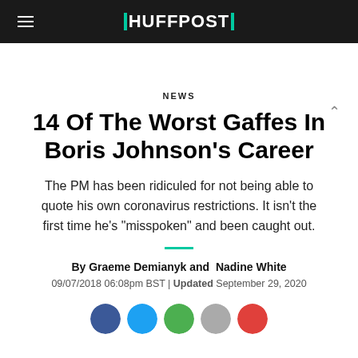HUFFPOST
NEWS
14 Of The Worst Gaffes In Boris Johnson's Career
The PM has been ridiculed for not being able to quote his own coronavirus restrictions. It isn't the first time he's "misspoken" and been caught out.
By Graeme Demianyk and  Nadine White
09/07/2018 06:08pm BST | Updated September 29, 2020